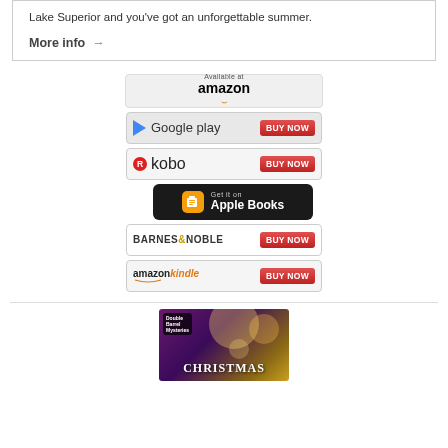Lake Superior and you've got an unforgettable summer.
More info →
[Figure (other): Available at Amazon button]
[Figure (other): Google Play BUY NOW button]
[Figure (other): Kobo BUY NOW button]
[Figure (other): Get it on Apple Books button]
[Figure (other): Barnes & Noble BUY NOW button]
[Figure (other): Amazon Kindle BUY NOW button]
[Figure (illustration): Double Barrel Mysteries Christmas book cover with bokeh light background]